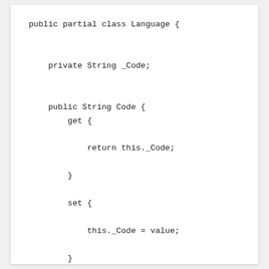public partial class Language {

    private String _Code;


    public String Code {
        get {

            return this._Code;

        }

        set {

            this._Code = value;

        }
    }

}